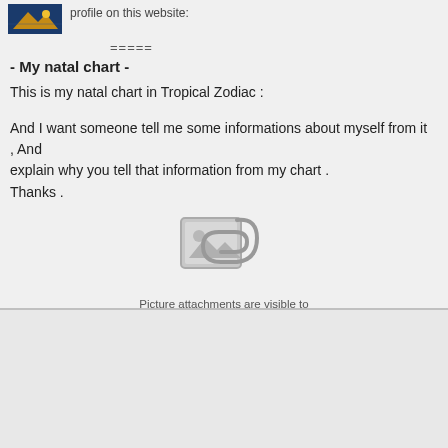profile on this website:
=====
- My natal chart -
This is my natal chart in Tropical Zodiac :
And I want someone tell me some informations about myself from it , And explain why you tell that information from my chart .
Thanks .
[Figure (other): Placeholder image icon indicating picture attachments are only visible to registered users. Shows image thumbnail icon with paperclip overlay.]
Picture attachments are visible to registered users only.
(Log in)
Posts in topic
Sort posts: